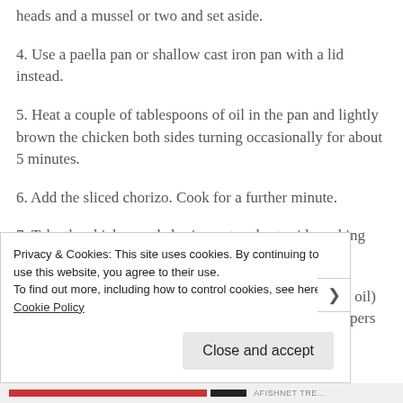heads and a mussel or two and set aside.
4. Use a paella pan or shallow cast iron pan with a lid instead.
5. Heat a couple of tablespoons of oil in the pan and lightly brown the chicken both sides turning occasionally for about 5 minutes.
6. Add the sliced chorizo. Cook for a further minute.
7. Take the chicken and chorizo out and set aside making sure the fat stays in the pan.
8. Add the chopped onion to the pan (no need for extra oil) and fry until it starts to caramelise.  Add the sliced peppers and cook for a couple more minutes.
Privacy & Cookies: This site uses cookies. By continuing to use this website, you agree to their use. To find out more, including how to control cookies, see here: Cookie Policy
Close and accept